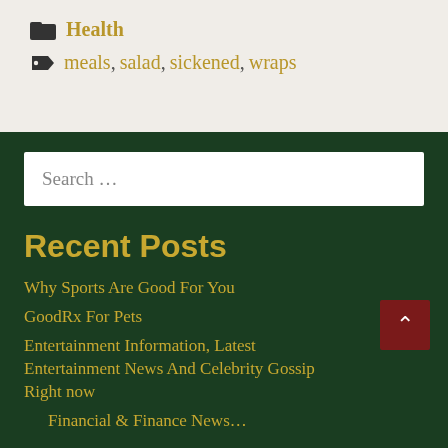Health
meals, salad, sickened, wraps
Search …
Recent Posts
Why Sports Are Good For You
GoodRx For Pets
Entertainment Information, Latest Entertainment News And Celebrity Gossip Right now
Financial & Finance News…